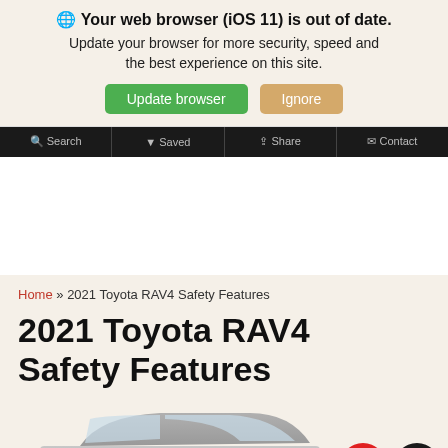🌐 Your web browser (iOS 11) is out of date. Update your browser for more security, speed and the best experience on this site.
Update browser | Ignore
Search | Saved | Share | Contact
Home » 2021 Toyota RAV4 Safety Features
2021 Toyota RAV4 Safety Features
[Figure (photo): Partial front view of a 2021 Toyota RAV4 vehicle, silver/grey color, shown from a low front-angle perspective against a light background.]